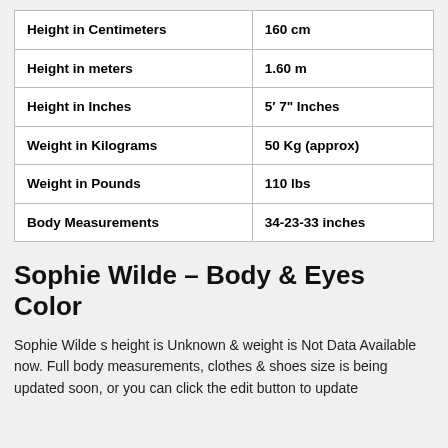| Height in Centimeters | 160 cm |
| Height in meters | 1.60 m |
| Height in Inches | 5′ 7" Inches |
| Weight in Kilograms | 50 Kg (approx) |
| Weight in Pounds | 110 lbs |
| Body Measurements | 34-23-33 inches |
Sophie Wilde – Body & Eyes Color
Sophie Wilde s height is Unknown & weight is Not Data Available now. Full body measurements, clothes & shoes size is being updated soon, or you can click the edit button to update